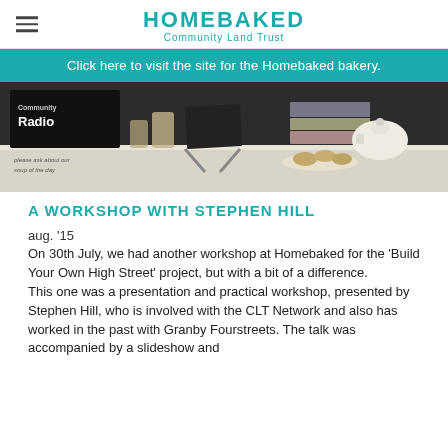HOMEBAKED Community Land Trust
Click here to visit the site for the Homebaked bakery.
[Figure (photo): Interior photo of a cafe/bakery counter with chalkboard signs, jars, teapot, and baked goods. A sign reads 'Community Radio' and another reads 'please ask about our soup of the day'.]
A WORKSHOP WITH STEPHEN HILL
aug. '15
On 30th July, we had another workshop at Homebaked for the 'Build Your Own High Street' project, but with a bit of a difference. This one was a presentation and practical workshop, presented by Stephen Hill, who is involved with the CLT Network and also has worked in the past with Granby Fourstreets. The talk was accompanied by a slideshow and